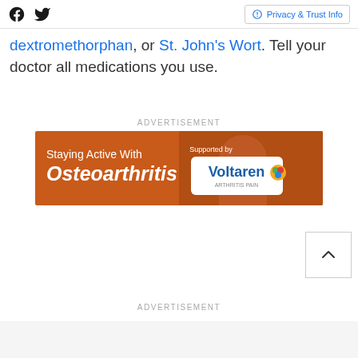Social icons and Privacy & Trust Info button
dextromethorphan, or St. John's Wort. Tell your doctor all medications you use.
ADVERTISEMENT
[Figure (illustration): Orange advertisement banner for 'Staying Active With Osteoarthritis', supported by Voltaren Arthritis Pain, showing a smiling older woman with grey hair]
[Figure (other): Back to top arrow button]
ADVERTISEMENT